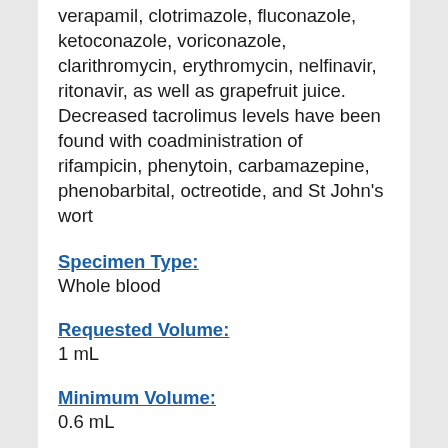verapamil, clotrimazole, fluconazole, ketoconazole, voriconazole, clarithromycin, erythromycin, nelfinavir, ritonavir, as well as grapefruit juice. Decreased tacrolimus levels have been found with coadministration of rifampicin, phenytoin, carbamazepine, phenobarbital, octreotide, and St John's wort
Specimen Type:
Whole blood
Requested Volume:
1 mL
Minimum Volume:
0.6 mL